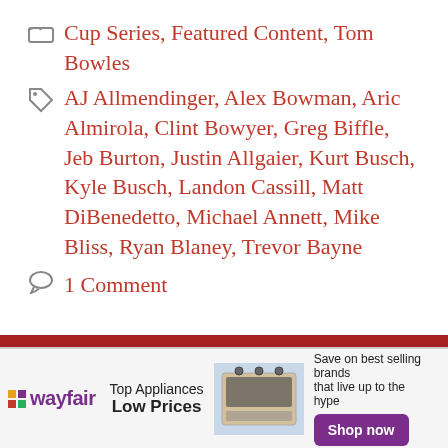Cup Series, Featured Content, Tom Bowles
AJ Allmendinger, Alex Bowman, Aric Almirola, Clint Bowyer, Greg Biffle, Jeb Burton, Justin Allgaier, Kurt Busch, Kyle Busch, Landon Cassill, Matt DiBenedetto, Michael Annett, Mike Bliss, Ryan Blaney, Trevor Bayne
1 Comment
[Figure (other): Wayfair advertisement banner: Top Appliances Low Prices, with image of a stove/range appliance, text 'Save on best selling brands that live up to the hype', and a purple 'Shop now' button]